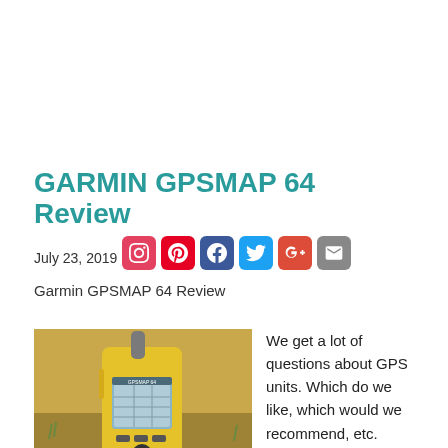GARMIN GPSMAP 64 Review
July 23, 2019
[Figure (illustration): Social media icons row: Instagram, Pinterest, Facebook, Twitter, Google+, Email]
Garmin GPSMAP 64 Review
[Figure (photo): Photo of Garmin GPSMAP 64 handheld GPS device with yellow casing, antenna and screen visible, placed outdoors on ground]
We get a lot of questions about GPS units. Which do we like, which would we recommend, etc. Here you go; Seven reasons why we